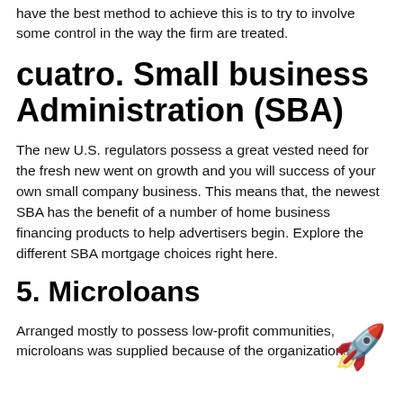have the best method to achieve this is to try to involve some control in the way the firm are treated.
cuatro. Small business Administration (SBA)
The new U.S. regulators possess a great vested need for the fresh new went on growth and you will success of your own small company business. This means that, the newest SBA has the benefit of a number of home business financing products to help advertisers begin. Explore the different SBA mortgage choices right here.
5. Microloans
Arranged mostly to possess low-profit communities, microloans was supplied because of the organizations to